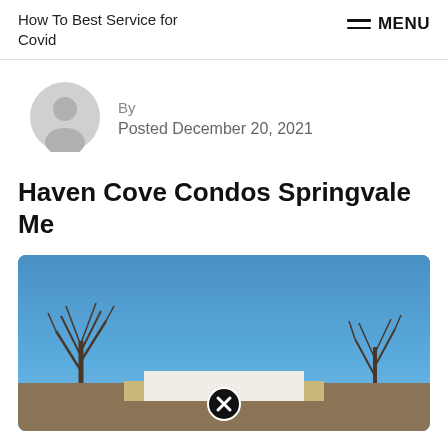How To Best Service for Covid | MENU
[Figure (illustration): Grey circular avatar/user icon placeholder]
By
Posted December 20, 2021
Haven Cove Condos Springvale Me
[Figure (photo): Photograph of Haven Cove Condos in Springvale ME — building with beige roof under clear blue sky, bare winter trees on left and right, close/X button overlay at bottom center]